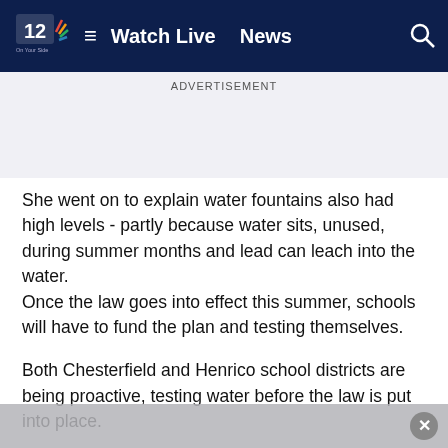NBC12 | Watch Live | News
ADVERTISEMENT
She went on to explain water fountains also had high levels - partly because water sits, unused, during summer months and lead can leach into the water.
Once the law goes into effect this summer, schools will have to fund the plan and testing themselves.
Both Chesterfield and Henrico school districts are being proactive, testing water before the law is put into place.
Henrico performed water resting in April of 2016 on 48 schools constructed prior to 1978. "All schools tested below the action levels for lead and copper. At the time, we were monitoring the events in Flint, Michigan, and decided